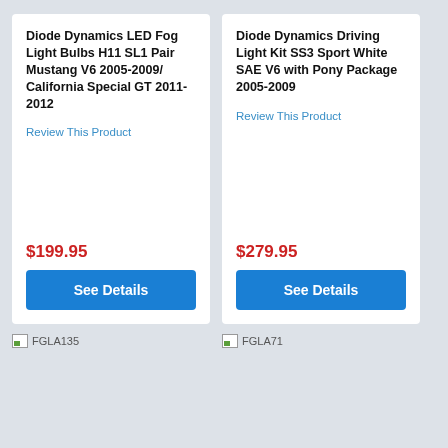Diode Dynamics LED Fog Light Bulbs H11 SL1 Pair Mustang V6 2005-2009/ California Special GT 2011-2012
Review This Product
$199.95
See Details
Diode Dynamics Driving Light Kit SS3 Sport White SAE V6 with Pony Package 2005-2009
Review This Product
$279.95
See Details
[Figure (photo): Broken image placeholder labeled FGLA135]
[Figure (photo): Broken image placeholder labeled FGLA71]